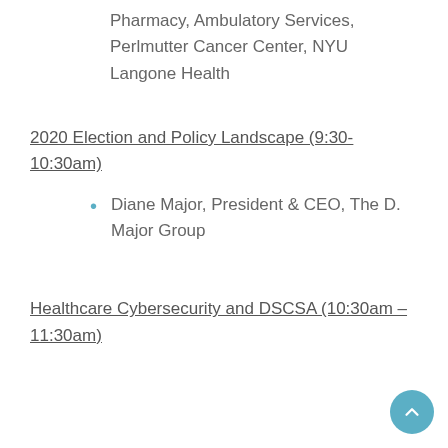Pharmacy, Ambulatory Services, Perlmutter Cancer Center, NYU Langone Health
2020 Election and Policy Landscape (9:30-10:30am)
Diane Major, President & CEO, The D. Major Group
Healthcare Cybersecurity and DSCSA (10:30am – 11:30am)